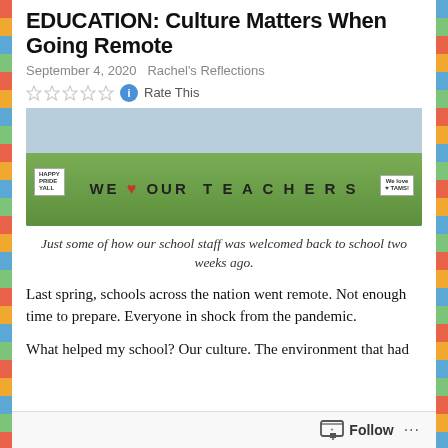EDUCATION: Culture Matters When Going Remote
September 4, 2020   Rachel's Reflections
[Figure (photo): Photo of a lawn with signs spelling out 'WE ♥ OUR TEACHERS' and other welcome back signs on the grass.]
Just some of how our school staff was welcomed back to school two weeks ago.
Last spring, schools across the nation went remote. Not enough time to prepare. Everyone in shock from the pandemic.
What helped my school? Our culture. The environment that had been established was...